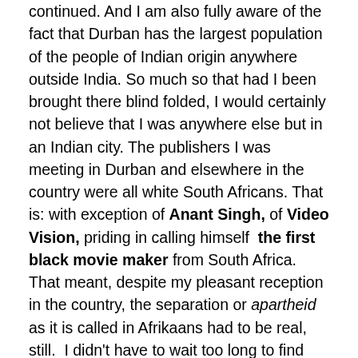continued. And I am also fully aware of the fact that Durban has the largest population of the people of Indian origin anywhere outside India. So much so that had I been brought there blind folded, I would certainly not believe that I was anywhere else but in an Indian city. The publishers I was meeting in Durban and elsewhere in the country were all white South Africans. That is: with exception of Anant Singh, of Video Vision, priding in calling himself the first black movie maker from South Africa. That meant, despite my pleasant reception in the country, the separation or apartheid as it is called in Afrikaans had to be real, still. I didn't have to wait too long to find out myself.
Upon my arrival in Durban, I am met at the airport by Christopher Backerberg of Republican Press. We have a drink together in the hotel bar and then I have a free